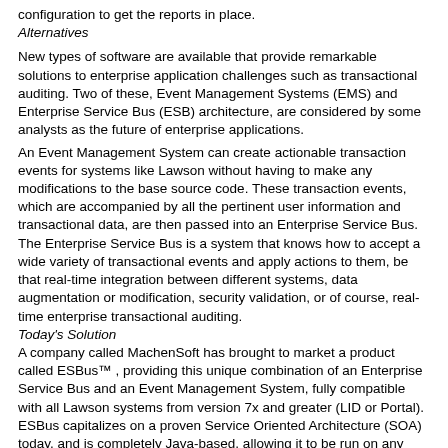configuration to get the reports in place.
Alternatives
New types of software are available that provide remarkable solutions to enterprise application challenges such as transactional auditing. Two of these, Event Management Systems (EMS) and Enterprise Service Bus (ESB) architecture, are considered by some analysts as the future of enterprise applications.
An Event Management System can create actionable transaction events for systems like Lawson without having to make any modifications to the base source code. These transaction events, which are accompanied by all the pertinent user information and transactional data, are then passed into an Enterprise Service Bus. The Enterprise Service Bus is a system that knows how to accept a wide variety of transactional events and apply actions to them, be that real-time integration between different systems, data augmentation or modification, security validation, or of course, real-time enterprise transactional auditing.
Today's Solution
A company called MachenSoft has brought to market a product called ESBus™ , providing this unique combination of an Enterprise Service Bus and an Event Management System, fully compatible with all Lawson systems from version 7x and greater (LID or Portal). ESBus capitalizes on a proven Service Oriented Architecture (SOA) today, and is completely Java-based, allowing it to be run on any operating system that can run a Java Virtual Machine/servlet container. As a true middleware EAI application, ESBus is independent of changes in the applications which it serves, and as a multi-threaded system it is capable of